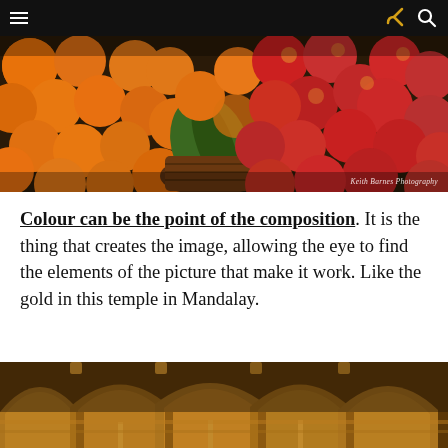Navigation bar with menu, share, and search icons
[Figure (photo): A market scene with oranges/tangerines on the left and red apples on the right, with a green leaf and basket visible. Watermark reads: Keith Barnes Photography]
Colour can be the point of the composition. It is the thing that creates the image, allowing the eye to find the elements of the picture that make it work. Like the gold in this temple in Mandalay.
[Figure (photo): Golden archways of a temple in Mandalay, Myanmar, with ornate golden carved arches and columns visible in warm amber tones.]